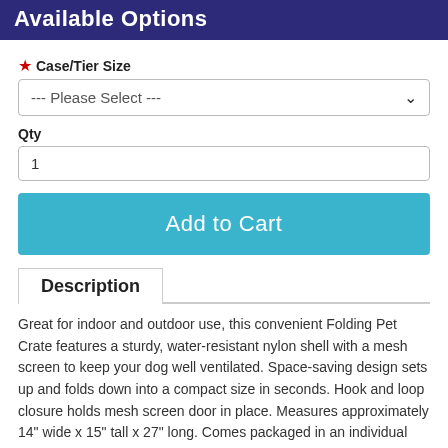Available Options
* Case/Tier Size
--- Please Select ---
Qty
1
Add to Cart
Description
Great for indoor and outdoor use, this convenient Folding Pet Crate features a sturdy, water-resistant nylon shell with a mesh screen to keep your dog well ventilated. Space-saving design sets up and folds down into a compact size in seconds. Hook and loop closure holds mesh screen door in place. Measures approximately 14" wide x 15" tall x 27" long. Comes packaged in an individual box. Box measures approximately 10" x 2" x 10".